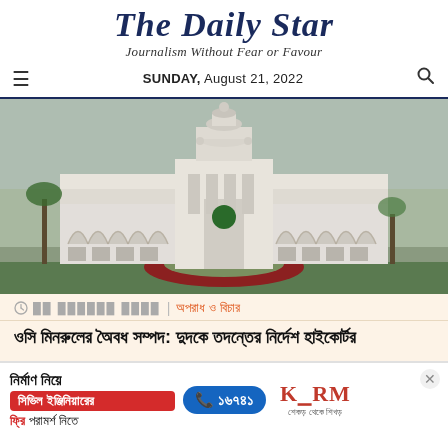The Daily Star
Journalism Without Fear or Favour
SUNDAY, August 21, 2022
[Figure (photo): Exterior photo of the High Court building in Bangladesh, a white colonial-style structure with arches, a central dome, and a circular garden in front]
অপরাধ ও বিচার
ওসি মিনরুলের অৈবধ সম্পদ: দুদকে তদন্তের নির্দেশ হাইকোর্টর
[Figure (advertisement): KSRM construction advertisement in Bengali: নির্মাণ নিয়ে সিভিল ইঞ্জিনিয়ারের ফ্রি পরামর্শ নিতে, phone number ১৬৭৪১, KSRM logo]